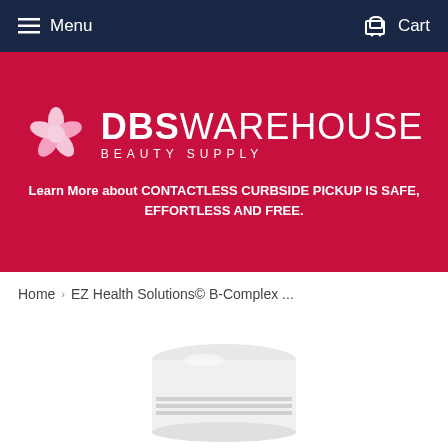Menu   Cart
[Figure (logo): DBS Warehouse Beauty Supply logo with pink flower on red/crimson background]
Learn More about CONTACTLESS CURBSIDE PICKUP IS SAFE, EFFORTLESS AND FREE.
Home › EZ Health Solutions© B-Complex ...
[Figure (photo): Product photo showing top of a white cylindrical bottle/container]